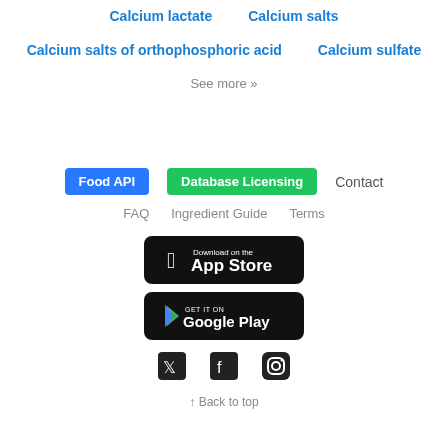Calcium lactate
Calcium salts
Calcium salts of orthophosphoric acid
Calcium sulfate
See more »
Food API | Database Licensing | Contact | FAQ | Ingredient Guide | Terms
[Figure (screenshot): Download on the App Store button (black rounded rectangle)]
[Figure (screenshot): GET IT ON Google Play button (black rounded rectangle)]
[Figure (illustration): Social media icons: Twitter, Facebook, Instagram]
↑ Back to top